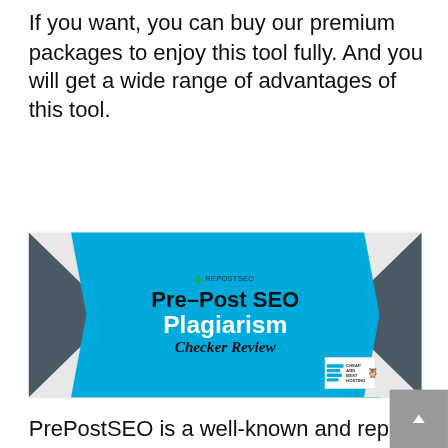If you want, you can buy our premium packages to enjoy this tool fully. And you will get a wide range of advantages of this tool.
[Figure (infographic): Pre-Post SEO Plagiarism Checker Review banner image with blue chevron shape, dark grey side triangles, showing PrePostSEO logo, title 'Pre-Post SEO Plagiarism Checker Review', and a 'Cheap and Best Hosting' badge in the bottom right.]
PrePostSEO is a well-known and reputed Content Marketing Agency. Our main objective is to provide our clients the content which is free of plagiarism and